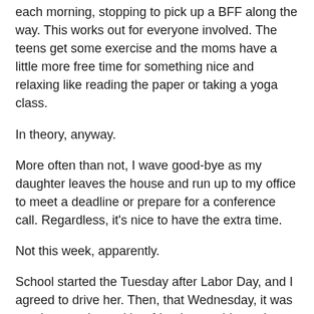each morning, stopping to pick up a BFF along the way. This works out for everyone involved. The teens get some exercise and the moms have a little more free time for something nice and relaxing like reading the paper or taking a yoga class.
In theory, anyway.
More often than not, I wave good-bye as my daughter leaves the house and run up to my office to meet a deadline or prepare for a conference call. Regardless, it's nice to have the extra time.
Not this week, apparently.
School started the Tuesday after Labor Day, and I agreed to drive her. Then, that Wednesday, it was pouring, so she and her friend got a ride again. Thursday, they walked as planned. But, Friday, I was